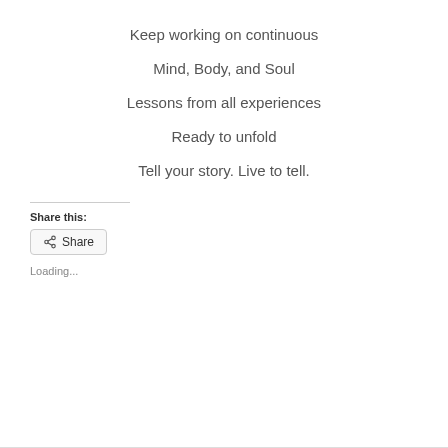Keep working on continuous
Mind, Body, and Soul
Lessons from all experiences
Ready to unfold
Tell your story. Live to tell.
Share this:
Share
Loading...